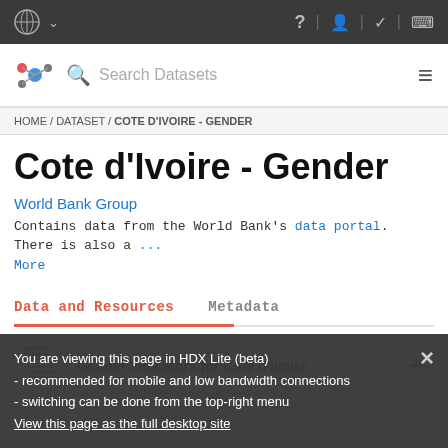UN logo | ? | person | checkmark | desktop
[Figure (screenshot): HDX website navigation bar with search field showing 'Search Datasets' placeholder and hamburger menu]
HOME / DATASET / COTE D'IVOIRE - GENDER
Cote d'Ivoire - Gender
World Bank Group
Contains data from the World Bank's data portal. There is also a ... More
Data and Resources
Metadata
Gender Indicators for Cote d'Ivoire
You are viewing this page in HDX Lite (beta)
- recommended for mobile and low bandwidth connections
- switching can be done from the top-right menu
View this page as the full desktop site